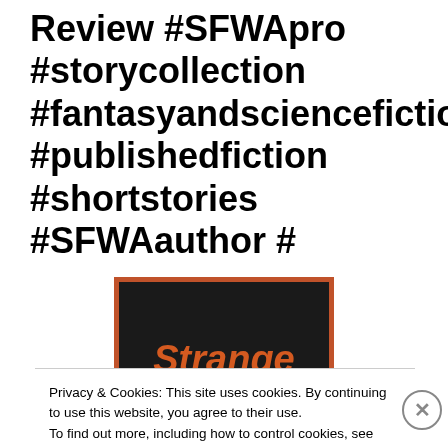Review #SFWApro #storycollection #fantasyandsciencefiction #publishedfiction #shortstories #SFWAauthor #
[Figure (illustration): Book cover with dark/black background and orange-red border showing title 'Strange Ladies' in bold orange-red italic text]
Privacy & Cookies: This site uses cookies. By continuing to use this website, you agree to their use. To find out more, including how to control cookies, see here: Cookie Policy
Close and accept